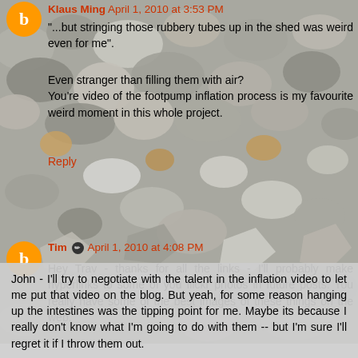[Figure (photo): Background photo of smooth pebbles and rocks, grey/brown tones, filling the upper portion of the page]
Klaus Ming April 1, 2010 at 3:53 PM
"...but stringing those rubbery tubes up in the shed was weird even for me".
Even stranger than filling them with air?
You're video of the footpump inflation process is my favourite weird moment in this whole project.
Reply
Tim  April 1, 2010 at 4:08 PM
Hey Trav - thanks for all the links - I'll probably make hyperlinks to some of you flickr photos in future posts. You really have some of the best images of these things on the web.
John - I'll try to negotiate with the talent in the inflation video to let me put that video on the blog. But yeah, for some reason hanging up the intestines was the tipping point for me. Maybe its because I really don't know what I'm going to do with them -- but I'm sure I'll regret it if I throw them out.